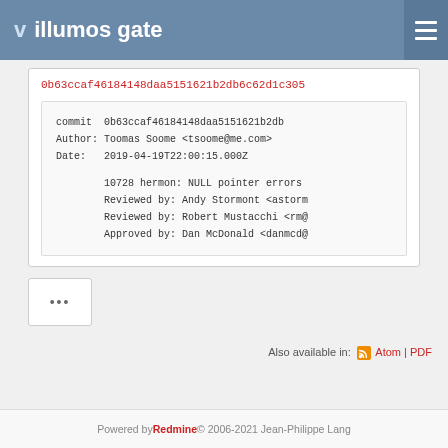illumos gate
0b63ccaf46184148daa5151621b2db6c62d1c305
commit  0b63ccaf46184148daa5151621b2db
Author: Toomas Soome <tsoome@me.com>
Date:   2019-04-19T22:00:15.000Z

    10728 hermon: NULL pointer errors
    Reviewed by: Andy Stormont <astorm
    Reviewed by: Robert Mustacchi <rm@
    Approved by: Dan McDonald <danmcd@
•••
Also available in:  Atom | PDF
Powered by Redmine © 2006-2021 Jean-Philippe Lang